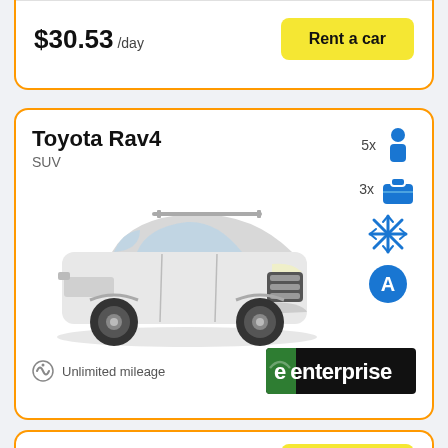$30.53 /day
Rent a car
Toyota Rav4
SUV
[Figure (photo): White Toyota RAV4 SUV side-front view]
5x passengers
3x bags
Air conditioning (snowflake icon)
Automatic transmission (A icon)
Unlimited mileage
[Figure (logo): Enterprise car rental logo - green and black]
$28.92 /day
Rent a car